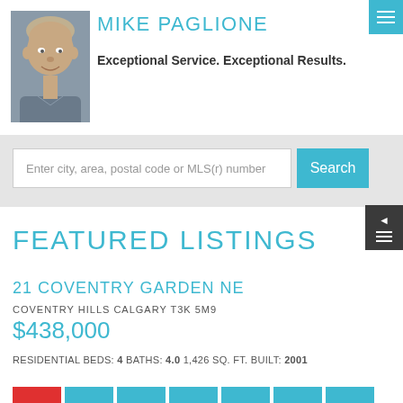[Figure (photo): Headshot photo of Mike Paglione, a middle-aged man smiling, wearing a grey shirt]
MIKE PAGLIONE
Exceptional Service. Exceptional Results.
Enter city, area, postal code or MLS(r) number
Search
FEATURED LISTINGS
21 COVENTRY GARDEN NE
COVENTRY HILLS CALGARY T3K 5M9
$438,000
RESIDENTIAL BEDS: 4 BATHS: 4.0 1,426 SQ. FT. BUILT: 2001